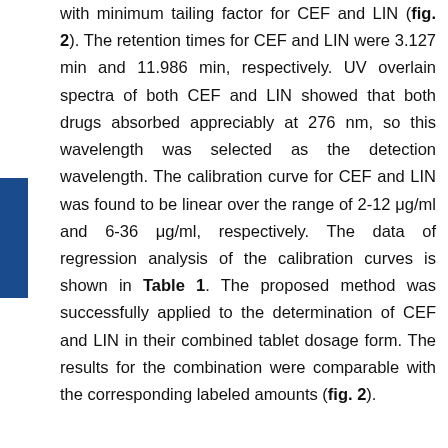with minimum tailing factor for CEF and LIN (fig. 2). The retention times for CEF and LIN were 3.127 min and 11.986 min, respectively. UV overlain spectra of both CEF and LIN showed that both drugs absorbed appreciably at 276 nm, so this wavelength was selected as the detection wavelength. The calibration curve for CEF and LIN was found to be linear over the range of 2-12 μg/ml and 6-36 μg/ml, respectively. The data of regression analysis of the calibration curves is shown in Table 1. The proposed method was successfully applied to the determination of CEF and LIN in their combined tablet dosage form. The results for the combination were comparable with the corresponding labeled amounts (fig. 2).